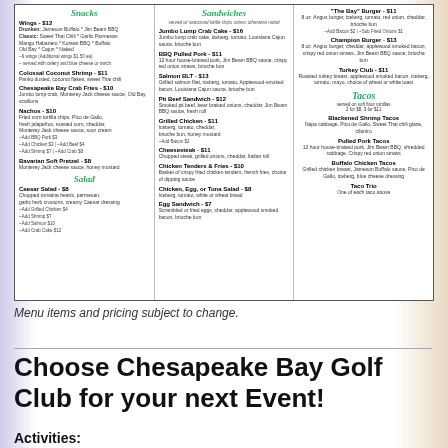[Figure (other): Restaurant menu with three columns: Snacks and Salad (left), Sandwiches (center), Burgers and Tacos (right). Items include Wings, Colossal Coconut Shrimp, Chesapeake Bay Crab Fries, Nachos, Bavarian Soft Pretzel, Caesar Salad, Jumbo Lump Crab Cake, BBQ Pulled Pork, Salmon BLT, Pit Beef Sandwich, Grilled Chicken, Cheesesteak, Chicken Tenders & Fries, Chicken/Egg/Tuna Salad, Egg Sandwich, The Bay Burger, Champion Burger, Turkey Club, Blackened Shrimp Tacos, Pulled Pork Tacos, Buffalo Chicken Tacos, Taco Trio.]
Menu items and pricing subject to change.
Choose Chesapeake Bay Golf Club for your next Event!
Activities: